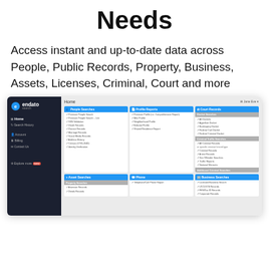Needs
Access instant and up-to-date data across People, Public Records, Property, Business, Assets, Licenses, Criminal, Court and more
[Figure (screenshot): Screenshot of Endato Search platform showing the home page with a dark sidebar navigation on the left (containing Home, Search History, Account, Billing, Contact Us, Explore more) and main content area with cards for People Searches, Profile Reports, Court Records, Asset Searches, Phone, and Business Searches categories, each containing multiple search type links.]